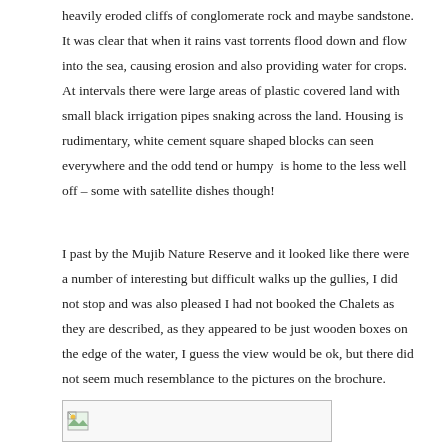heavily eroded cliffs of conglomerate rock and maybe sandstone. It was clear that when it rains vast torrents flood down and flow into the sea, causing erosion and also providing water for crops. At intervals there were large areas of plastic covered land with small black irrigation pipes snaking across the land. Housing is rudimentary, white cement square shaped blocks can seen everywhere and the odd tend or humpy  is home to the less well off – some with satellite dishes though!
I past by the Mujib Nature Reserve and it looked like there were a number of interesting but difficult walks up the gullies, I did not stop and was also pleased I had not booked the Chalets as they are described, as they appeared to be just wooden boxes on the edge of the water, I guess the view would be ok, but there did not seem much resemblance to the pictures on the brochure.
[Figure (photo): Small image placeholder with broken image icon at bottom left of page]